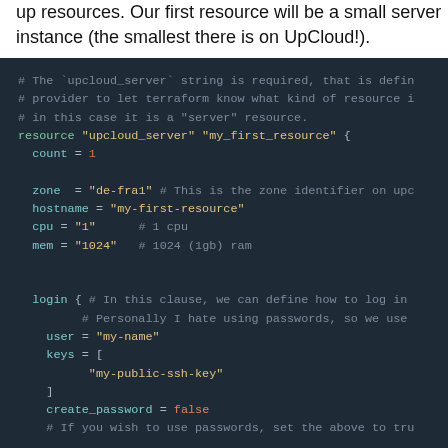up resources. Our first resource will be a small server instance (the smallest there is on UpCloud!).
[Figure (screenshot): Dark-themed code editor screenshot showing Terraform HCL configuration for an UpCloud server resource with comments, attributes (count, zone, hostname, cpu, mem), and a login block with user, keys, and create_password fields.]